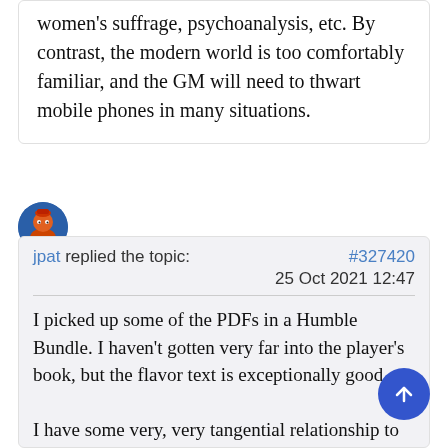women's suffrage, psychoanalysis, etc. By contrast, the modern world is too comfortably familiar, and the GM will need to thwart mobile phones in many situations.
[Figure (illustration): Avatar icon showing an illustrated character with orange/red coloring on a blue circular background]
jpat replied the topic: #327420
25 Oct 2021 12:47
I picked up some of the PDFs in a Humble Bundle. I haven't gotten very far into the player's book, but the flavor text is exceptionally good.

I have some very, very tangential relationship to Delta Green, as The Unspeakable Oath was originally being produced at Mizzou when I was going there,